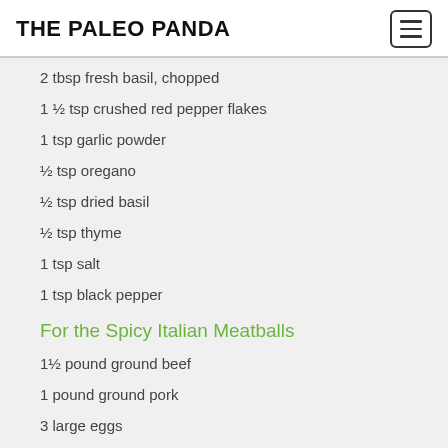THE PALEO PANDA
2 tbsp fresh basil, chopped
1 ½ tsp crushed red pepper flakes
1 tsp garlic powder
½ tsp oregano
½ tsp dried basil
½ tsp thyme
1 tsp salt
1 tsp black pepper
For the Spicy Italian Meatballs
1½ pound ground beef
1 pound ground pork
3 large eggs
½ cup almond flour
4 garlic cloves, minced